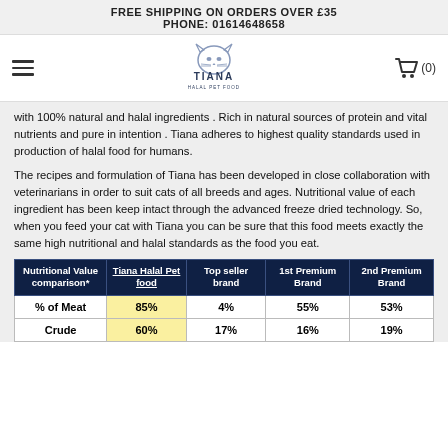FREE SHIPPING ON ORDERS OVER £35
PHONE: 01614648658
[Figure (logo): Tiana Halal Pet Food logo with cat face illustration]
with 100% natural and halal ingredients . Rich in natural sources of protein and vital nutrients and pure in intention . Tiana adheres to highest quality standards used in production of halal food for humans.
The recipes and formulation of Tiana has been developed in close collaboration with veterinarians in order to suit cats of all breeds and ages. Nutritional value of each ingredient has been keep intact through the advanced freeze dried technology. So, when you feed your cat with Tiana you can be sure that this food meets exactly the same high nutritional and halal standards as the food you eat.
| Nutritional Value comparison* | Tiana Halal Pet food | Top seller brand | 1st Premium Brand | 2nd Premium Brand |
| --- | --- | --- | --- | --- |
| % of Meat | 85% | 4% | 55% | 53% |
| Crude | 60% | 17% | 16% | 19% |